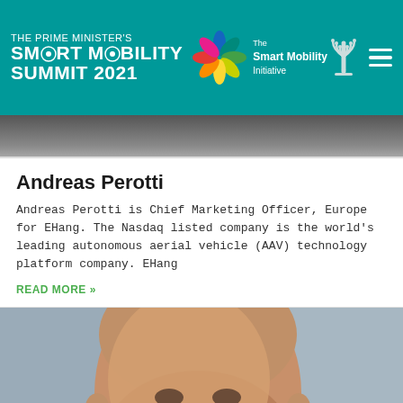THE PRIME MINISTER'S SMART MOBILITY SUMMIT 2021 | The Smart Mobility Initiative
[Figure (photo): Top portion of a person's head/shoulders photo, cropped]
Andreas Perotti
Andreas Perotti is Chief Marketing Officer, Europe for EHang. The Nasdaq listed company is the world's leading autonomous aerial vehicle (AAV) technology platform company. EHang
READ MORE »
[Figure (photo): Headshot photo of a middle-aged bald man smiling, with a blurred grey/blue background]
REGISTER